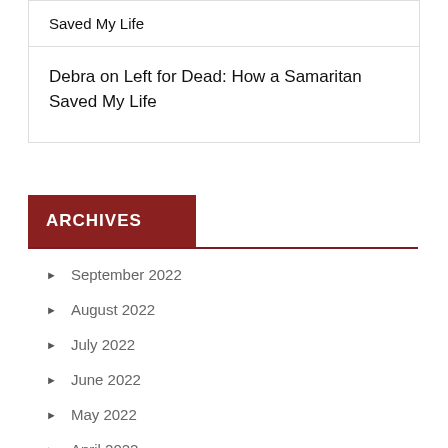Saved My Life
Debra on Left for Dead: How a Samaritan Saved My Life
ARCHIVES
September 2022
August 2022
July 2022
June 2022
May 2022
April 2022